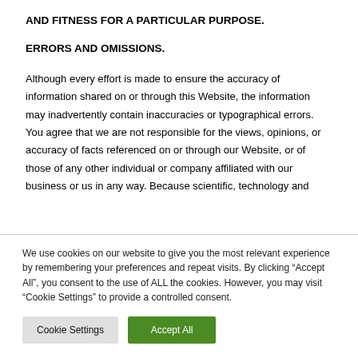AND FITNESS FOR A PARTICULAR PURPOSE.
ERRORS AND OMISSIONS.
Although every effort is made to ensure the accuracy of information shared on or through this Website, the information may inadvertently contain inaccuracies or typographical errors. You agree that we are not responsible for the views, opinions, or accuracy of facts referenced on or through our Website, or of those of any other individual or company affiliated with our business or us in any way. Because scientific, technology and
We use cookies on our website to give you the most relevant experience by remembering your preferences and repeat visits. By clicking “Accept All”, you consent to the use of ALL the cookies. However, you may visit "Cookie Settings" to provide a controlled consent.